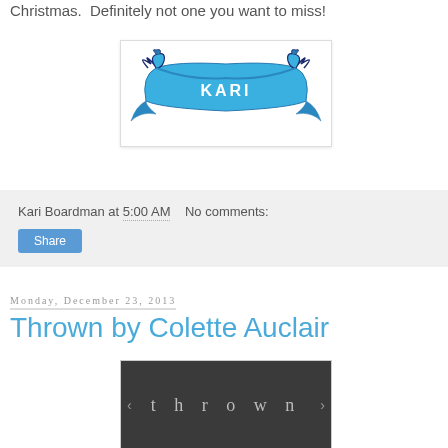Christmas.  Definitely not one you want to miss!
[Figure (logo): Blue decorative ribbon banner logo with the name KARI in the center]
Kari Boardman at 5:00 AM   No comments:
Share
Monday, December 23, 2013
Thrown by Colette Auclair
[Figure (photo): Book cover for 'thrown' by Colette Auclair, dark grey/moody background with the word 'thrown' in spaced serif letters]